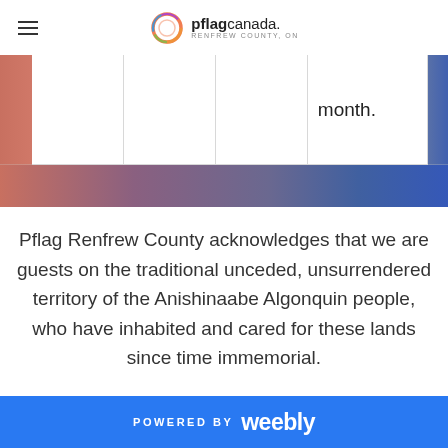pflag canada. RENFREW COUNTY, ON
[Figure (other): Partial table/banner with gradient background showing the word 'month.' in the fourth cell, with a warm-to-cool gradient strip below]
Pflag Renfrew County acknowledges that we are guests on the traditional unceded, unsurrendered territory of the Anishinaabe Algonquin people, who have inhabited and cared for these lands since time immemorial.
POWERED BY weebly